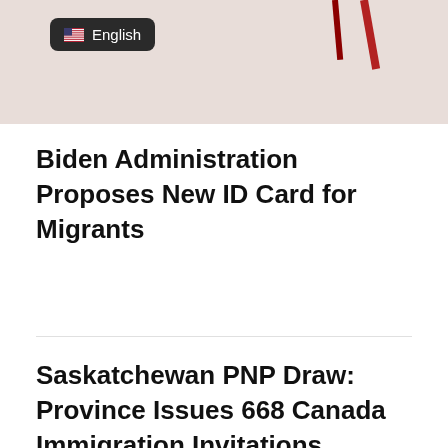[Figure (photo): Partial photo showing a reddish background with a dark rounded-rectangle badge displaying a US flag emoji and the word 'English', suggesting a language selector UI element. Red cord/lanyard visible in upper portion.]
Biden Administration Proposes New ID Card for Migrants
Saskatchewan PNP Draw: Province Issues 668 Canada Immigration Invitations